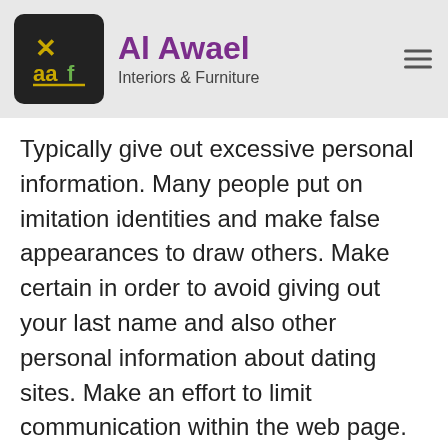[Figure (logo): Al Awael Interiors & Furniture logo with dark rounded square icon showing X mark and 'aaf' text, brand name in purple and tagline in gray]
Typically give out excessive personal information. Many people put on imitation identities and make false appearances to draw others. Make certain in order to avoid giving out your last name and also other personal information about dating sites. Make an effort to limit communication within the web page. You may also report virtually any offensive articles if you think anybody has placed offensive or perhaps inappropriate material. You have to stay safe the moment dating online. Only keep in mind, there's no rationale to risk your li https://elegantweddingdirectory.com/top-wedding-themes/ by getting active with somebody you